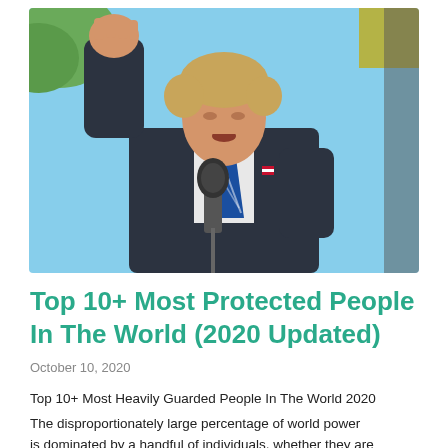[Figure (photo): Photo of a man in a dark suit with a blue striped tie, fist raised, speaking into a microphone at an outdoor event with a light blue sky background and green foliage.]
Top 10+ Most Protected People In The World (2020 Updated)
October 10, 2020
Top 10+ Most Heavily Guarded People In The World 2020
The disproportionately large percentage of world power is dominated by a handful of individuals, whether they are